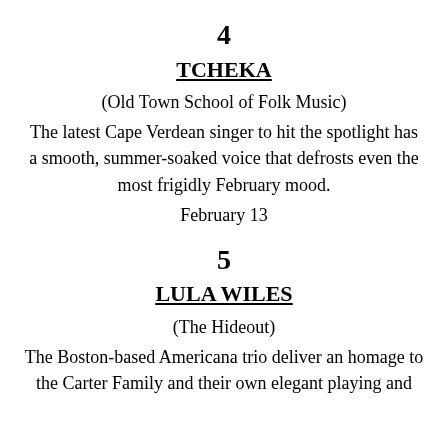4
TCHEKA
(Old Town School of Folk Music)
The latest Cape Verdean singer to hit the spotlight has a smooth, summer-soaked voice that defrosts even the most frigidly February mood.
February 13
5
LULA WILES
(The Hideout)
The Boston-based Americana trio deliver an homage to the Carter Family and their own elegant playing and